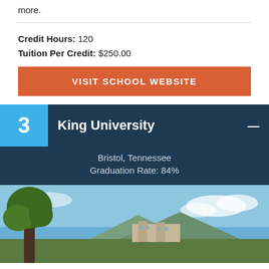more.
Credit Hours: 120
Tuition Per Credit: $250.00
VISIT SCHOOL WEBSITE
3 King University
Bristol, Tennessee
Graduation Rate: 84%
[Figure (photo): Campus photo of King University showing trees and buildings against a blue sky with clouds]